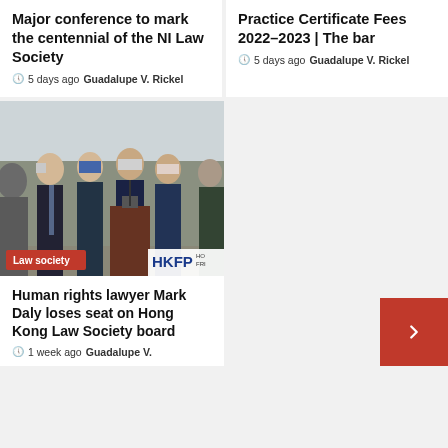Major conference to mark the centennial of the NI Law Society
🕐 5 days ago  Guadalupe V. Rickel
Practice Certificate Fees 2022–2023 | The bar
🕐 5 days ago  Guadalupe V. Rickel
[Figure (photo): Group of lawyers wearing masks at a press conference, with HKFP logo watermark and 'Law society' badge]
Human rights lawyer Mark Daly loses seat on Hong Kong Law Society board
🕐 1 week ago  Guadalupe V.